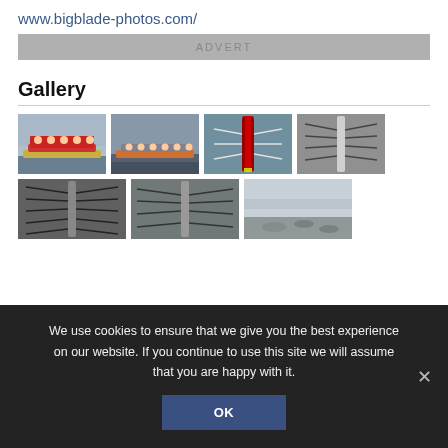www.bigblade-photos.com/
ADVERT
Gallery
[Figure (photo): Rowing team in red uniforms seated in a boat on water, side view]
[Figure (photo): Rowing team seated in a boat, side view, dark water]
[Figure (photo): Aerial view of rowing eight moving forward through water]
[Figure (photo): Aerial view of rowing eight with oars extended symmetrically]
[Figure (photo): Aerial view of rowing eight from above, dark water]
[Figure (photo): Aerial view of single rowing boat from above]
[Figure (photo): Multiple boats on misty grey water, aerial view]
We use cookies to ensure that we give you the best experience on our website. If you continue to use this site we will assume that you are happy with it.
OK